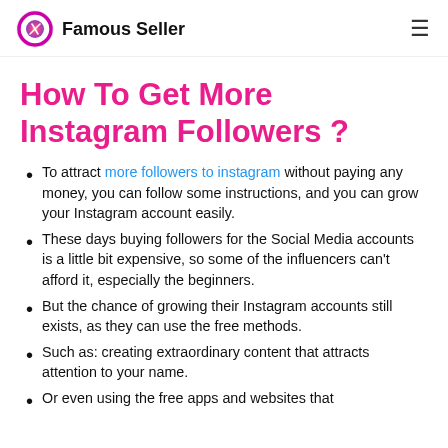Famous Seller
How To Get More Instagram Followers ?
To attract more followers to instagram without paying any money, you can follow some instructions, and you can grow your Instagram account easily.
These days buying followers for the Social Media accounts is a little bit expensive, so some of the influencers can't afford it, especially the beginners.
But the chance of growing their Instagram accounts still exists, as they can use the free methods.
Such as: creating extraordinary content that attracts attention to your name.
Or even using the free apps and websites that